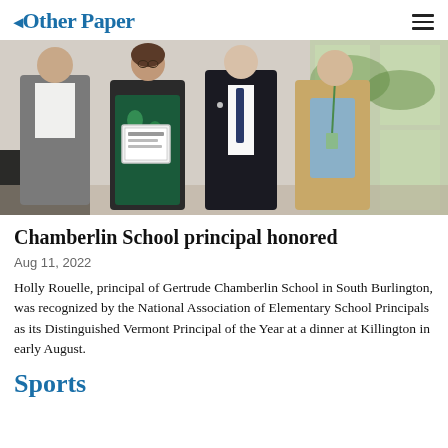Other Paper
[Figure (photo): Four people standing together indoors at an awards ceremony; a woman in a green floral dress holds a framed certificate/award, flanked by two men in suits and one in a grey blazer, with windows and foliage visible in the background.]
Chamberlin School principal honored
Aug 11, 2022
Holly Rouelle, principal of Gertrude Chamberlin School in South Burlington, was recognized by the National Association of Elementary School Principals as its Distinguished Vermont Principal of the Year at a dinner at Killington in early August.
Sports